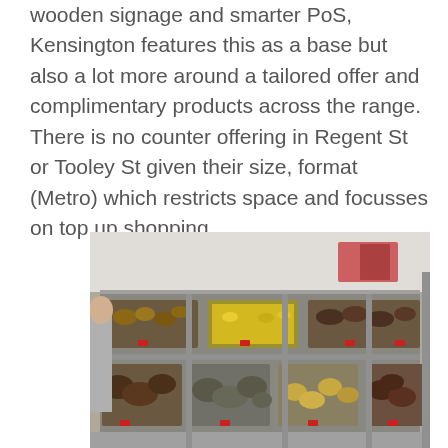wooden signage and smarter PoS, Kensington features this as a base but also a lot more around a tailored offer and complimentary products across the range. There is no counter offering in Regent St or Tooley St given their size, format (Metro) which restricts space and focusses on top up shopping.
[Figure (photo): A food counter / hot food display unit with multiple stainless steel trays containing various cooked foods such as pastries, vegetables, and meat dishes arranged on two tiers.]